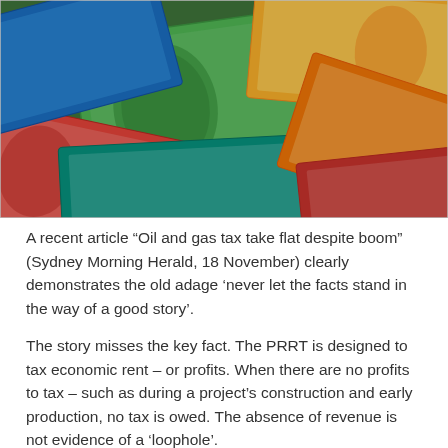[Figure (photo): Overhead photo of a scattered pile of Australian banknotes including $100 bills (green, featuring a portrait), and other colourful Australian currency notes in red, blue, orange, green, and yellow.]
A recent article “Oil and gas tax take flat despite boom” (Sydney Morning Herald, 18 November) clearly demonstrates the old adage ‘never let the facts stand in the way of a good story’.
The story misses the key fact. The PRRT is designed to tax economic rent – or profits. When there are no profits to tax – such as during a project’s construction and early production, no tax is owed. The absence of revenue is not evidence of a ‘loophole’.